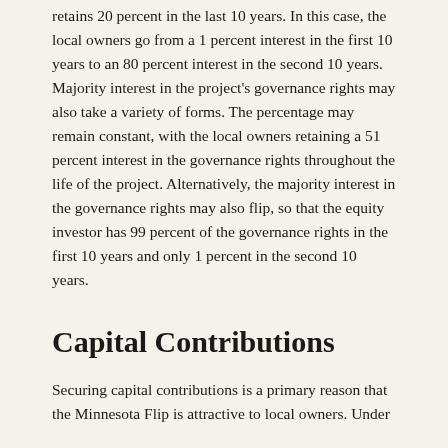retains 20 percent in the last 10 years. In this case, the local owners go from a 1 percent interest in the first 10 years to an 80 percent interest in the second 10 years. Majority interest in the project's governance rights may also take a variety of forms. The percentage may remain constant, with the local owners retaining a 51 percent interest in the governance rights throughout the life of the project. Alternatively, the majority interest in the governance rights may also flip, so that the equity investor has 99 percent of the governance rights in the first 10 years and only 1 percent in the second 10 years.
Capital Contributions
Securing capital contributions is a primary reason that the Minnesota Flip is attractive to local owners. Under